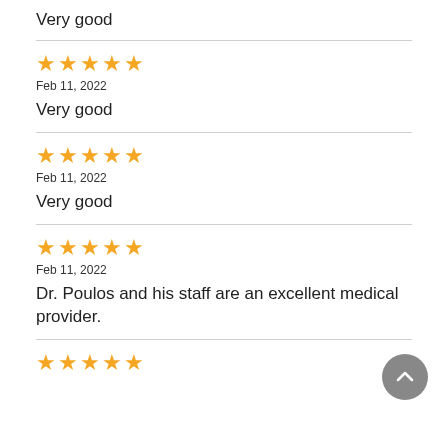Very good
★★★★★
Feb 11, 2022
Very good
★★★★★
Feb 11, 2022
Very good
★★★★★
Feb 11, 2022
Dr. Poulos and his staff are an excellent medical provider.
★★★★★